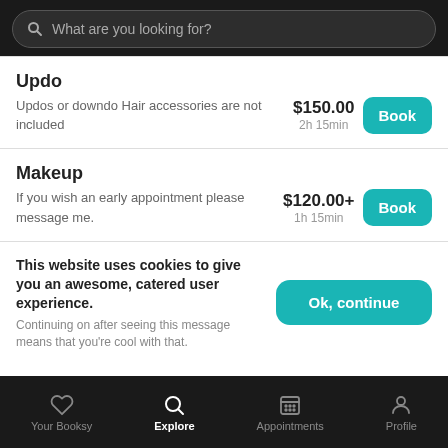What are you looking for?
Updo
Updos or downdo Hair accessories are not included
$150.00  2h 15min
Makeup
If you wish an early appointment please message me.
$120.00+  1h 15min
This website uses cookies to give you an awesome, catered user experience. Continuing on after seeing this message means that you're cool with that.
Your Booksy  Explore  Appointments  Profile